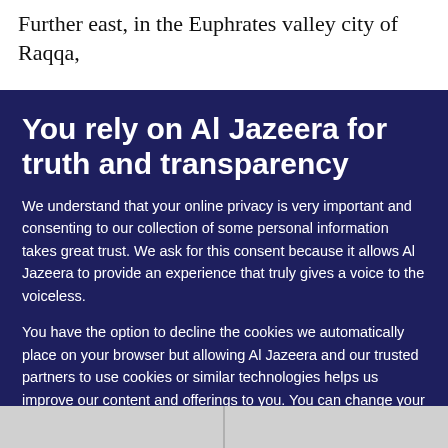Further east, in the Euphrates valley city of Raqqa,
You rely on Al Jazeera for truth and transparency
We understand that your online privacy is very important and consenting to our collection of some personal information takes great trust. We ask for this consent because it allows Al Jazeera to provide an experience that truly gives a voice to the voiceless.
You have the option to decline the cookies we automatically place on your browser but allowing Al Jazeera and our trusted partners to use cookies or similar technologies helps us improve our content and offerings to you. You can change your privacy preferences at any time by selecting 'Cookie preferences' at the bottom of your screen. To learn more, please view our Cookie Policy.